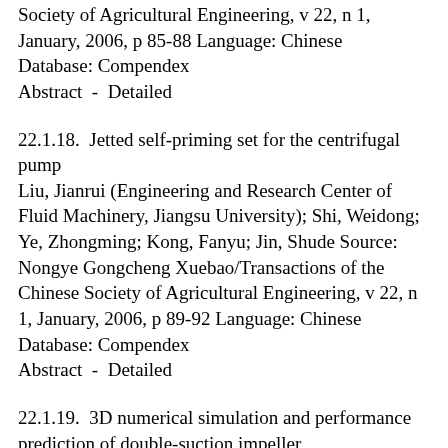Society of Agricultural Engineering, v 22, n 1, January, 2006, p 85-88 Language: Chinese
Database: Compendex
Abstract  -  Detailed
22.1.18.  Jetted self-priming set for the centrifugal pump
Liu, Jianrui (Engineering and Research Center of Fluid Machinery, Jiangsu University); Shi, Weidong; Ye, Zhongming; Kong, Fanyu; Jin, Shude Source: Nongye Gongcheng Xuebao/Transactions of the Chinese Society of Agricultural Engineering, v 22, n 1, January, 2006, p 89-92 Language: Chinese
Database: Compendex
Abstract  -  Detailed
22.1.19.  3D numerical simulation and performance prediction of double-suction impeller
Zhao, Binjuan (School of Energy and Power